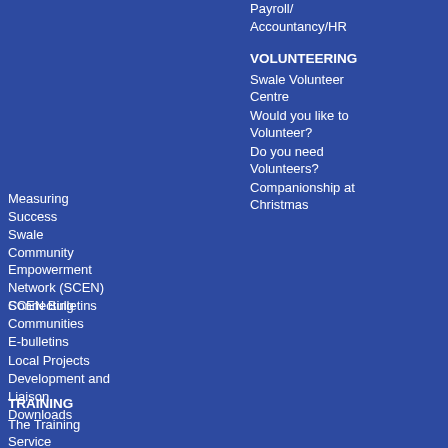Payroll/Accountancy/HR
VOLUNTEERING
Swale Volunteer Centre
Would you like to Volunteer?
Do you need Volunteers?
Companionship at Christmas
Measuring Success
Swale Community Empowerment Network (SCEN)
SCEN Bulletins
Defending Rent Consortium
TRANSPORT
The Transport Service
Become a Volunteer Driver
ROOM HIRE
TERMS OF USE
Connecting Communities
E-bulletins
Local Projects
Development and Liaison
Downloads
TRAINING
The Training Service